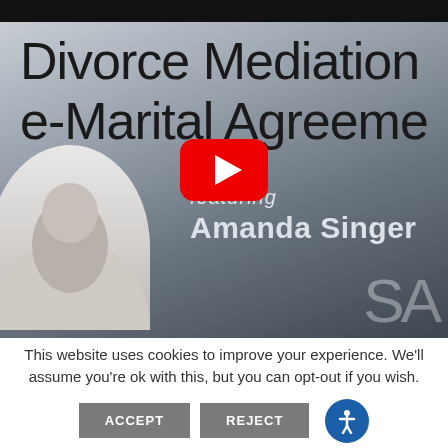[Figure (screenshot): YouTube video thumbnail for a legal video about Divorce Mediation and Pre-Marital Agreements featuring Amanda Singer. Shows large text 'Divorce Mediation' and 'Pre-Marital Agreement' on a gradient grey background, with a YouTube play button in the center, a portrait circle on the left, and 'SA' logo initials on the bottom right.]
This website uses cookies to improve your experience. We'll assume you're ok with this, but you can opt-out if you wish. ACCEPT REJECT